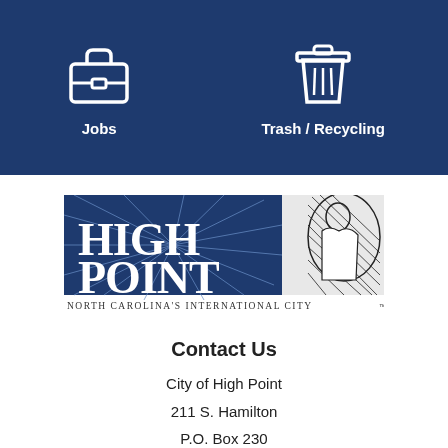[Figure (infographic): Dark blue header bar with two icons and labels: a briefcase icon labeled 'Jobs' on the left, and a trash/recycling bin icon labeled 'Trash / Recycling' on the right, on a dark navy background.]
[Figure (logo): High Point, North Carolina city logo. Left portion shows 'HIGH POINT' in large white serif letters over a blue starburst background. Right portion shows a black-and-white globe illustration. Below reads 'North Carolina's International City' in small capitals.]
Contact Us
City of High Point
211 S. Hamilton
P.O. Box 230
High Point, NC 27261